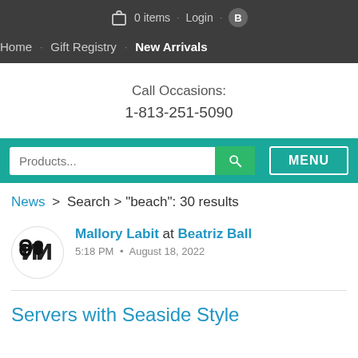0 items · Login · B
Home · Gift Registry · New Arrivals
Call Occasions:
1-813-251-5090
Products... [search] MENU
News > Search > "beach": 30 results
Mallory Labit at Beatriz Ball
5:18 PM • August 18, 2022
Servers with Seaside Style